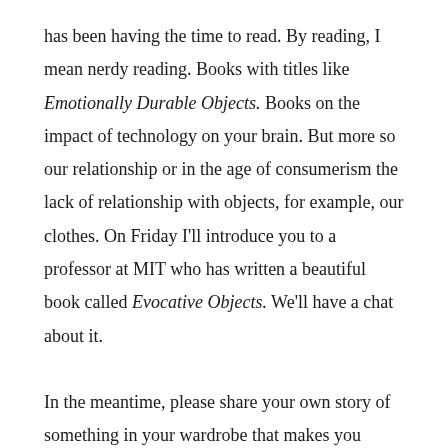has been having the time to read. By reading, I mean nerdy reading. Books with titles like Emotionally Durable Objects. Books on the impact of technology on your brain. But more so our relationship or in the age of consumerism the lack of relationship with objects, for example, our clothes. On Friday I'll introduce you to a professor at MIT who has written a beautiful book called Evocative Objects. We'll have a chat about it.

In the meantime, please share your own story of something in your wardrobe that makes you daydream and remember or that connects you to your past. Always in this time of the